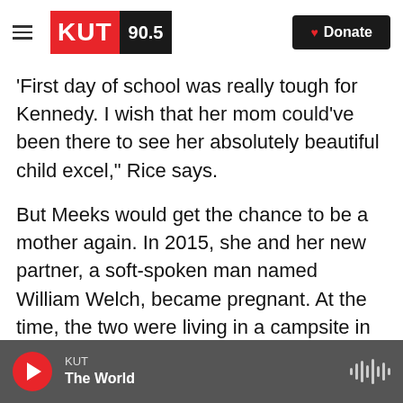KUT 90.5 | Donate
'First day of school was really tough for Kennedy. I wish that her mom could've been there to see her absolutely beautiful child excel,' Rice says.
But Meeks would get the chance to be a mother again. In 2015, she and her new partner, a soft-spoken man named William Welch, became pregnant. At the time, the two were living in a campsite in the woods, when they led Texas Standard's Joy Diaz on a tour.
Meeks walked in front, but would often tilt back, kind of wobbling, the way pregnant women do when their belly starts to get heavy. The camp was
KUT | The World